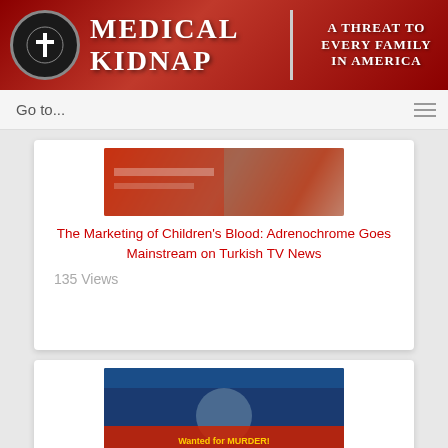[Figure (logo): Medical Kidnap website header with logo, title 'MEDICAL KIDNAP' and tagline 'A THREAT TO EVERY FAMILY IN AMERICA' on red background]
Go to...
[Figure (screenshot): Thumbnail image for article about Adrenochrome on Turkish TV News]
The Marketing of Children's Blood: Adrenochrome Goes Mainstream on Turkish TV News
135 Views
[Figure (screenshot): Thumbnail image showing Anthony Fauci with text 'Wanted for MURDER! ARREST ON SIGHT!']
SCANDAL! Anthony Fauci has been Mass Murdering People